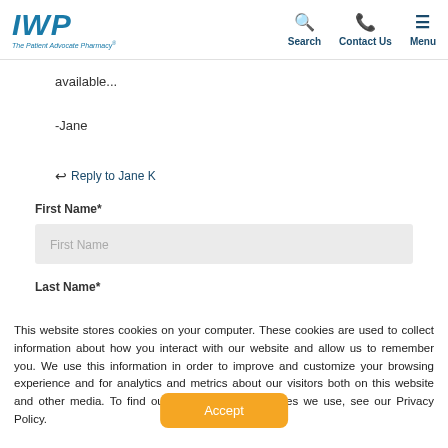IWP - The Patient Advocate Pharmacy | Search | Contact Us | Menu
available...
-Jane
↩ Reply to Jane K
First Name*
First Name
Last Name*
This website stores cookies on your computer. These cookies are used to collect information about how you interact with our website and allow us to remember you. We use this information in order to improve and customize your browsing experience and for analytics and metrics about our visitors both on this website and other media. To find out more about the cookies we use, see our Privacy Policy.
Accept